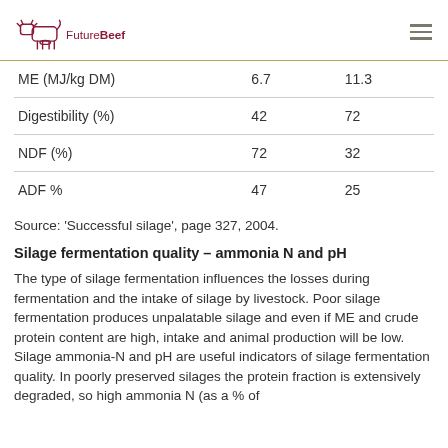FutureBeef
| ME (MJ/kg DM) | 6.7 | 11.3 |
| Digestibility (%) | 42 | 72 |
| NDF (%) | 72 | 32 |
| ADF % | 47 | 25 |
Source: 'Successful silage', page 327, 2004.
Silage fermentation quality – ammonia N and pH
The type of silage fermentation influences the losses during fermentation and the intake of silage by livestock. Poor silage fermentation produces unpalatable silage and even if ME and crude protein content are high, intake and animal production will be low. Silage ammonia-N and pH are useful indicators of silage fermentation quality. In poorly preserved silages the protein fraction is extensively degraded, so high ammonia N (as a % of